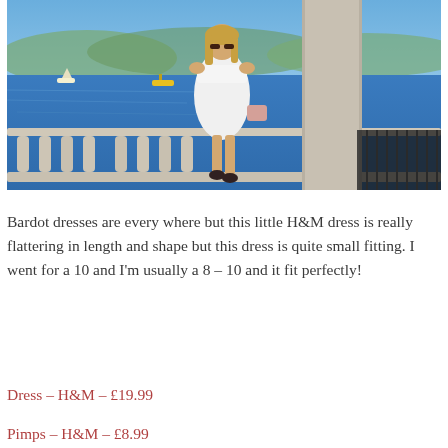[Figure (photo): A woman in a white off-shoulder bardot dress sitting on a balustrade by a lake, wearing sunglasses and holding a pink crossbody bag. The background shows blue water, a boat, and hills across the lake.]
Bardot dresses are every where but this little H&M dress is really flattering in length and shape but this dress is quite small fitting. I went for a 10 and I'm usually a 8 – 10 and it fit perfectly!
Dress – H&M – £19.99
Pimps – H&M – £8.99